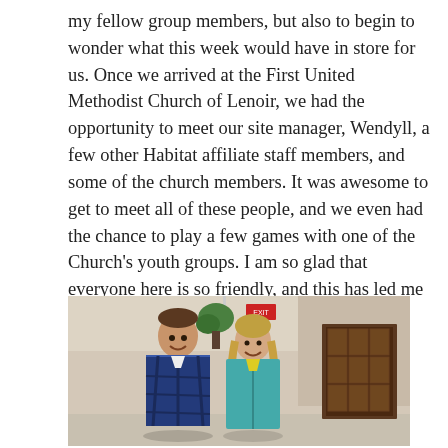my fellow group members, but also to begin to wonder what this week would have in store for us. Once we arrived at the First United Methodist Church of Lenoir, we had the opportunity to meet our site manager, Wendyll, a few other Habitat affiliate staff members, and some of the church members. It was awesome to get to meet all of these people, and we even had the chance to play a few games with one of the Church's youth groups. I am so glad that everyone here is so friendly, and this has led me to be sure that this will be a great week!
[Figure (photo): Two young people (a young man in a blue plaid flannel shirt on the left, and a young woman in a teal/turquoise jacket on the right) smiling and posing together inside what appears to be a church hallway or lobby area. There is a wooden door with glass panels visible in the background on the right, and an exit sign visible in the upper background.]